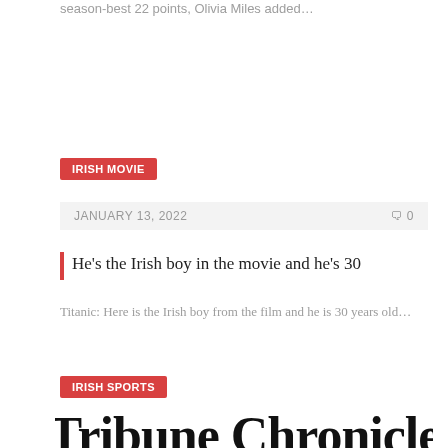season-best 22 points, Olivia Miles added…
IRISH MOVIE
JANUARY 13, 2022   0
He's the Irish boy in the movie and he's 30
Titanic: Here is the Irish boy from the film and he is 30 years old…
IRISH SPORTS
[Figure (logo): Tribune Chronicle newspaper logo in blackletter/gothic typeface]